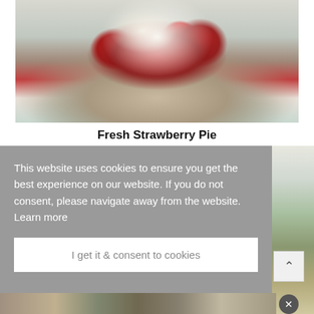[Figure (photo): A slice of fresh strawberry pie topped with whipped cream on a white plate, with strawberries and red glaze visible]
Fresh Strawberry Pie
This website uses cookies to ensure you get the best experience on our website. If you do not consent, please navigate away from the website.  Learn more
I get it & consent to cookies
[Figure (photo): Partial view of another food dish on a white plate with green vegetables, partially obscured by the cookie consent overlay]